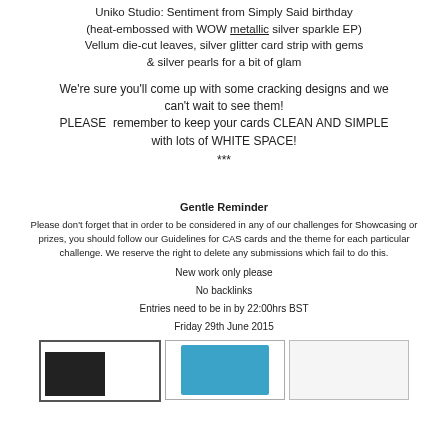Uniko Studio: Sentiment from Simply Said birthday (heat-embossed with WOW metallic silver sparkle EP) Vellum die-cut leaves, silver glitter card strip with gems & silver pearls for a bit of glam
We're sure you'll come up with some cracking designs and we can't wait to see them! PLEASE remember to keep your cards CLEAN AND SIMPLE with lots of WHITE SPACE!
***
Gentle Reminder
Please don't forget that in order to be considered in any of our challenges for Showcasing or prizes, you should follow our Guidelines for CAS cards and the theme for each particular challenge. We reserve the right to delete any submissions which fail to do this.
New work only please
No backlinks
Entries need to be in by 22:00hrs BST
Friday 29th June 2015
[Figure (photo): Three card images shown at the bottom of the page]
[Figure (photo): Blue card with stitching detail]
[Figure (photo): White/light card image]